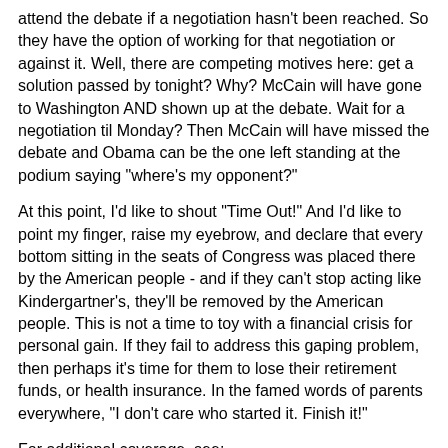attend the debate if a negotiation hasn't been reached. So they have the option of working for that negotiation or against it. Well, there are competing motives here: get a solution passed by tonight? Why? McCain will have gone to Washington AND shown up at the debate. Wait for a negotiation til Monday? Then McCain will have missed the debate and Obama can be the one left standing at the podium saying "where's my opponent?"
At this point, I'd like to shout "Time Out!" And I'd like to point my finger, raise my eyebrow, and declare that every bottom sitting in the seats of Congress was placed there by the American people - and if they can't stop acting like Kindergartner's, they'll be removed by the American people. This is not a time to toy with a financial crisis for personal gain. If they fail to address this gaping problem, then perhaps it's time for them to lose their retirement funds, or health insurance. In the famed words of parents everywhere, "I don't care who started it. Finish it!"
For additional coverage, see:
http://www.usatoday.com/news/washington/2008-09-25-